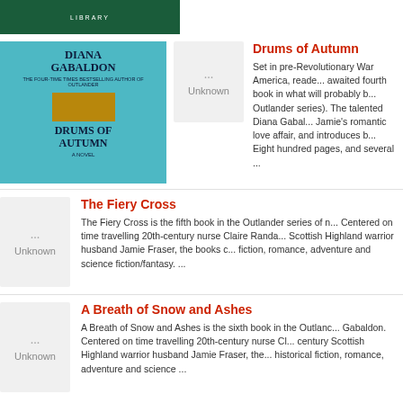LIBRARY
[Figure (illustration): Book cover: Drums of Autumn by Diana Gabaldon, teal background with golden ornament]
[Figure (illustration): Unknown book cover placeholder]
Drums of Autumn
Set in pre-Revolutionary War America, readers will find the long-awaited fourth book in what will probably be known as the Outlander series). The talented Diana Gabaldon continues Claire and Jamie's romantic love affair, and introduces both to the New World. Eight hundred pages, and several ...
[Figure (illustration): Unknown book cover placeholder]
The Fiery Cross
The Fiery Cross is the fifth book in the Outlander series of novels. Centered on time travelling 20th-century nurse Claire Randall and her Scottish Highland warrior husband Jamie Fraser, the books combine fiction, romance, adventure and science fiction/fantasy. ...
[Figure (illustration): Unknown book cover placeholder]
A Breath of Snow and Ashes
A Breath of Snow and Ashes is the sixth book in the Outlander by Gabaldon. Centered on time travelling 20th-century nurse Claire and 18th-century Scottish Highland warrior husband Jamie Fraser, the ... historical fiction, romance, adventure and science fiction ...